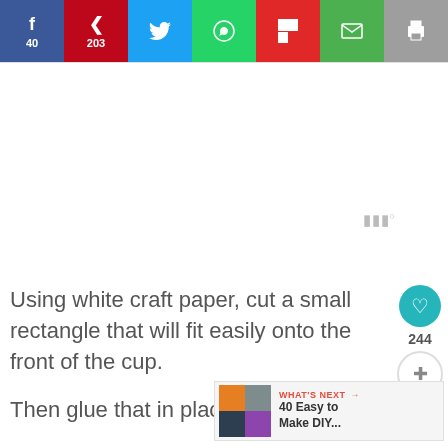[Figure (infographic): Social share bar with Facebook (40), Pinterest (203), Twitter, WhatsApp, Flipboard, Email, Print buttons]
Using white craft paper, cut a small rectangle that will fit easily onto the front of the cup.

Then glue that in place.
[Figure (infographic): What's Next widget showing '40 Easy to Make DIY...' with thumbnail image collage]